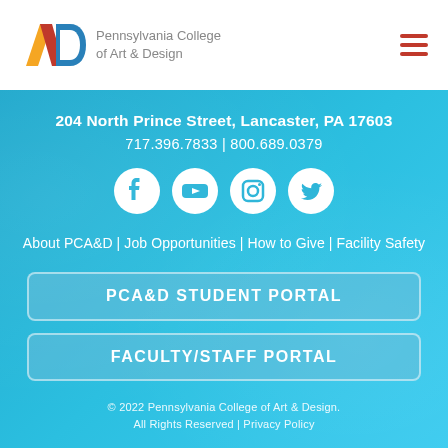[Figure (logo): Pennsylvania College of Art & Design logo with stylized A and D letterforms in orange and blue, with college name in gray text]
204 North Prince Street, Lancaster, PA 17603
717.396.7833 | 800.689.0379
[Figure (infographic): Social media icons: Facebook, YouTube, Instagram, Twitter — white icons on white circle backgrounds]
About PCA&D | Job Opportunities | How to Give | Facility Safety
PCA&D STUDENT PORTAL
FACULTY/STAFF PORTAL
© 2022 Pennsylvania College of Art & Design. All Rights Reserved | Privacy Policy